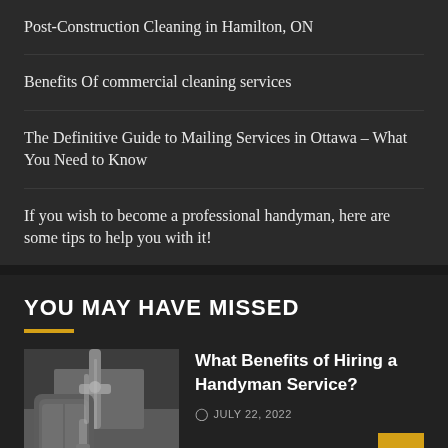Post-Construction Cleaning in Hamilton, ON
Benefits Of commercial cleaning services
The Definitive Guide to Mailing Services in Ottawa – What You Need to Know
If you wish to become a professional handyman, here are some tips to help you with it!
YOU MAY HAVE MISSED
[Figure (photo): Person working on plumbing or sink fixture, handyman service photo]
What Benefits of Hiring a Handyman Service?
JULY 22, 2022